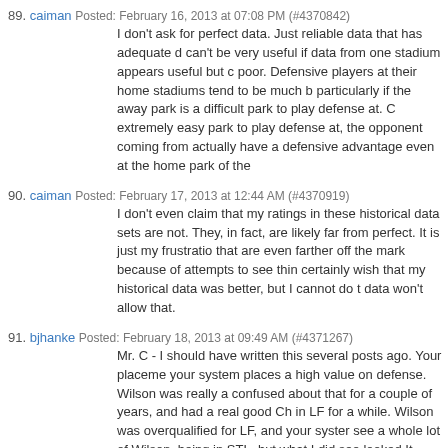89. caiman Posted: February 16, 2013 at 07:08 PM (#4370842)
I don't ask for perfect data. Just reliable data that has adequate d can't be very useful if data from one stadium appears useful but c poor. Defensive players at their home stadiums tend to be much b particularly if the away park is a difficult park to play defense at. C extremely easy park to play defense at, the opponent coming from actually have a defensive advantage even at the home park of the
90. caiman Posted: February 17, 2013 at 12:44 AM (#4370919)
I don't even claim that my ratings in these historical data sets are not. They, in fact, are likely far from perfect. It is just my frustratio that are even farther off the mark because of attempts to see thin certainly wish that my historical data was better, but I cannot do t data won't allow that.
91. bjhanke Posted: February 18, 2013 at 09:49 AM (#4371267)
Mr. C - I should have written this several posts ago. Your placeme your system places a high value on defense. Wilson was really a confused about that for a couple of years, and had a real good Ch in LF for a while. Wilson was overqualified for LF, and your syster see a whole lot of Wilson, being in STL, but what I did see looked It didn't hurt that the Royals played in a huge turf ballpark, with lo off his range.

I don't know what systems say about Daryl Porter's defense, but t that to try to get Ted Simmons to move to 1B and Keith Hernande room for Daryl. Simmons grumbled, but was willing. Hernandez a back story as to why Herzog traded Simmons. It wasn't because but he wanted Porter's glove behind the plate, and Keith wouldn't and Simmons' knees made him a bigger gamble than Hernandez